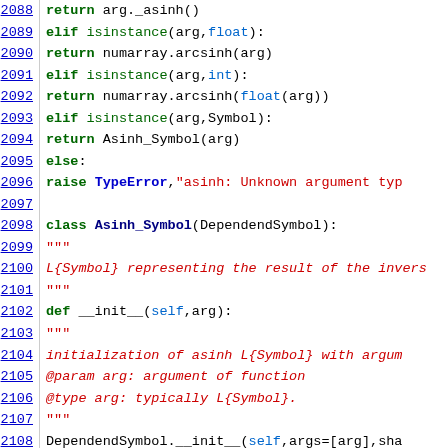[Figure (screenshot): Python source code viewer showing lines 2088-2110, with syntax highlighting. Green for keywords, blue for line numbers (linked), red/dark-red for strings and docstrings, black for plain code.]